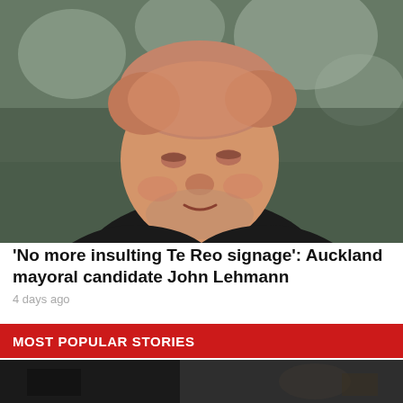[Figure (photo): Portrait photo of John Lehmann, an older man with reddish-grey hair and a beard, wearing a dark jacket, smiling slightly, with blurred trees in the background.]
'No more insulting Te Reo signage': Auckland mayoral candidate John Lehmann
4 days ago
MOST POPULAR STORIES
[Figure (photo): Partial photo visible at the bottom of the page, dark tones suggesting an outdoor scene.]